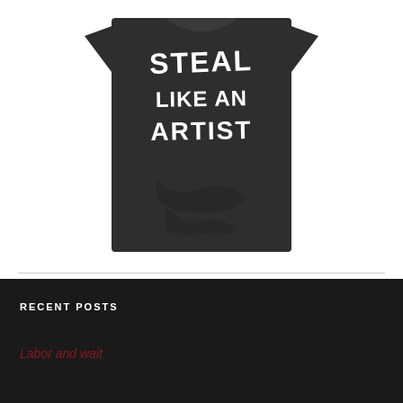[Figure (photo): Dark gray/charcoal t-shirt laid flat with white hand-lettered text reading 'STEAL LIKE AN ARTIST']
RECENT POSTS
Labor and wait